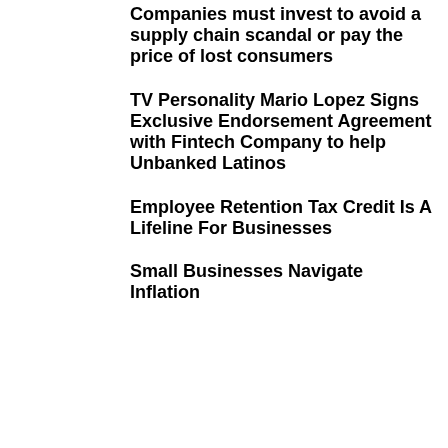Companies must invest to avoid a supply chain scandal or pay the price of lost consumers
TV Personality Mario Lopez Signs Exclusive Endorsement Agreement with Fintech Company to help Unbanked Latinos
Employee Retention Tax Credit Is A Lifeline For Businesses
Small Businesses Navigate Inflation